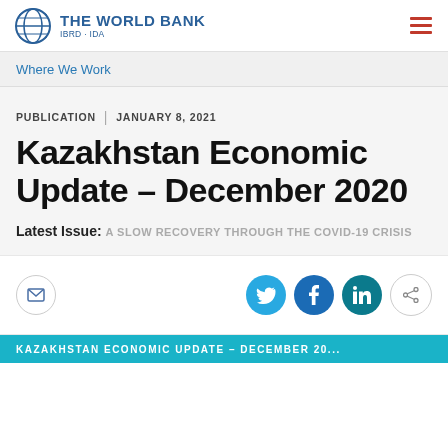THE WORLD BANK IBRD · IDA
Where We Work
PUBLICATION | JANUARY 8, 2021
Kazakhstan Economic Update – December 2020
Latest Issue: A SLOW RECOVERY THROUGH THE COVID-19 CRISIS
[Figure (infographic): Social sharing buttons: email, Twitter, Facebook, LinkedIn, share]
KAZAKHSTAN ECONOMIC UPDATE – DECEMBER 2020